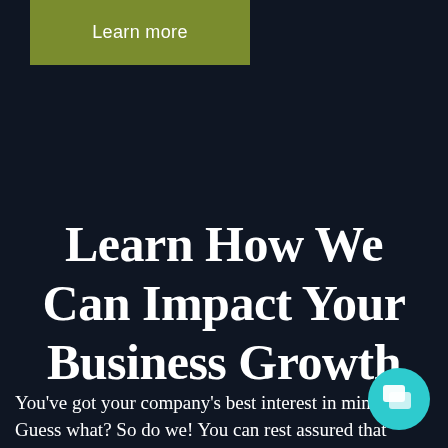[Figure (other): Olive/green rectangular button with white text 'Learn more']
Learn How We Can Impact Your Business Growth
You've got your company's best interest in mind. Guess what? So do we! You can rest assured that
[Figure (other): Teal circular chat/messaging icon button in bottom right corner]